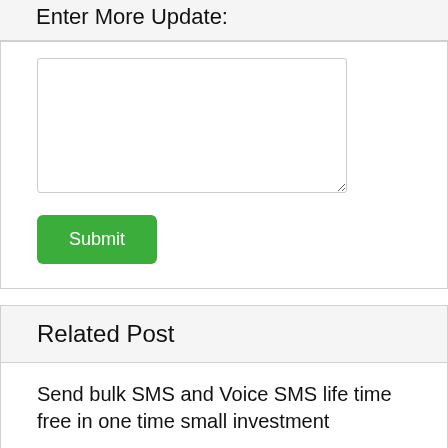Enter More Update:
[Figure (screenshot): A textarea input field with resize handle at bottom right]
Submit
Related Post
Send bulk SMS and Voice SMS life time free in one time small investment